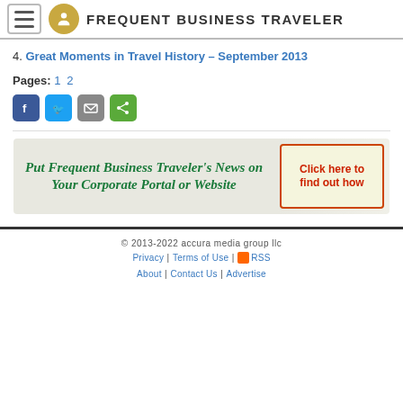FREQUENT BUSINESS TRAVELER
4. Great Moments in Travel History – September 2013
Pages: 1 2
[Figure (other): Social sharing icons: Facebook, Twitter, Email, Share]
[Figure (other): Banner ad: Put Frequent Business Traveler's News on Your Corporate Portal or Website. Click here to find out how.]
© 2013-2022 accura media group llc | Privacy | Terms of Use | RSS | About | Contact Us | Advertise